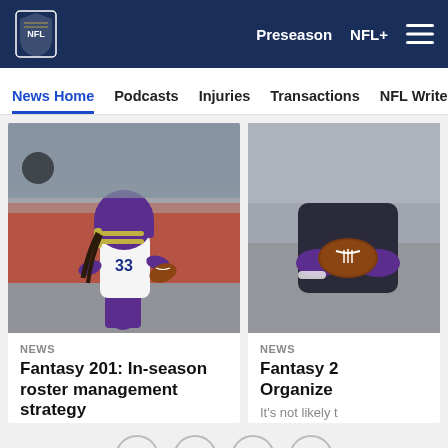NFL | Preseason  NFL+  Menu
News Home  Podcasts  Injuries  Transactions  NFL Writers  Se
[Figure (photo): Minnesota Vikings running back #33 in white uniform with purple helmet carrying football, action shot on field with red stadium background]
NEWS
Fantasy 201: In-season roster management strategy
There's nothing quite as exciting as your
[Figure (photo): Close-up of NFL player's hands holding a football, wearing purple gloves]
NEWS
Fantasy 2... Organize
It's not likely t